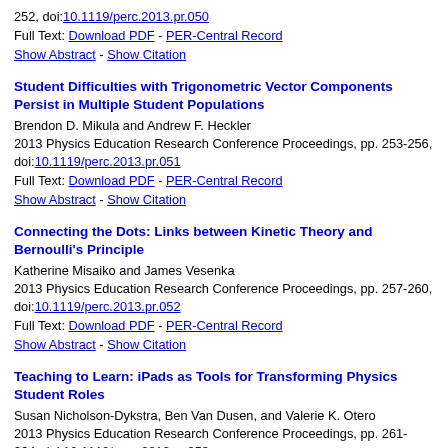252, doi:10.1119/perc.2013.pr.050
Full Text: Download PDF - PER-Central Record
Show Abstract - Show Citation
Student Difficulties with Trigonometric Vector Components Persist in Multiple Student Populations
Brendon D. Mikula and Andrew F. Heckler
2013 Physics Education Research Conference Proceedings, pp. 253-256, doi:10.1119/perc.2013.pr.051
Full Text: Download PDF - PER-Central Record
Show Abstract - Show Citation
Connecting the Dots: Links between Kinetic Theory and Bernoulli's Principle
Katherine Misaiko and James Vesenka
2013 Physics Education Research Conference Proceedings, pp. 257-260, doi:10.1119/perc.2013.pr.052
Full Text: Download PDF - PER-Central Record
Show Abstract - Show Citation
Teaching to Learn: iPads as Tools for Transforming Physics Student Roles
Susan Nicholson-Dykstra, Ben Van Dusen, and Valerie K. Otero
2013 Physics Education Research Conference Proceedings, pp. 261-264, doi:10.1119/perc.2013.pr.053